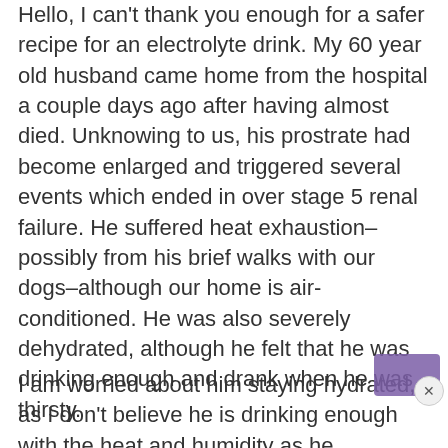Hello, I can't thank you enough for a safer recipe for an electrolyte drink. My 60 year old husband came home from the hospital a couple days ago after having almost died. Unknowing to us, his prostrate had become enlarged and triggered several events which ended in over stage 5 renal failure. He suffered heat exhaustion–possibly from his brief walks with our dogs–although our home is air-conditioned. He was also severely dehydrated, although he felt that he was drinking enough and drank when he was thirsty.
I am worried about him staying hydrated, as I don't believe he is drinking enough with the heat and humidity as he continues to take our wee dogs for short walks in our very sunny y… When he comes in from the heat (which he says…